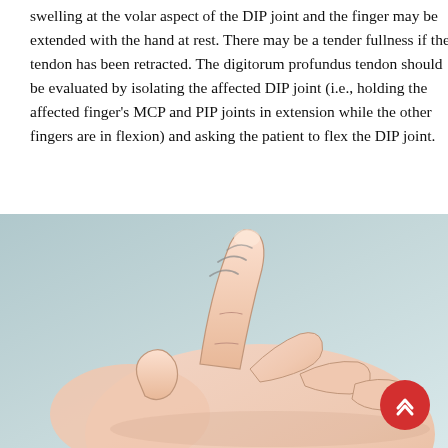swelling at the volar aspect of the DIP joint and the finger may be extended with the hand at rest. There may be a tender fullness if the tendon has been retracted. The digitorum profundus tendon should be evaluated by isolating the affected DIP joint (i.e., holding the affected finger's MCP and PIP joints in extension while the other fingers are in flexion) and asking the patient to flex the DIP joint.
[Figure (illustration): Medical illustration showing a hand with one finger being held in extension at MCP and PIP joints while other fingers are in flexion, with motion lines indicating movement at the DIP joint. A red circular back-to-top button is overlaid in the bottom right corner.]